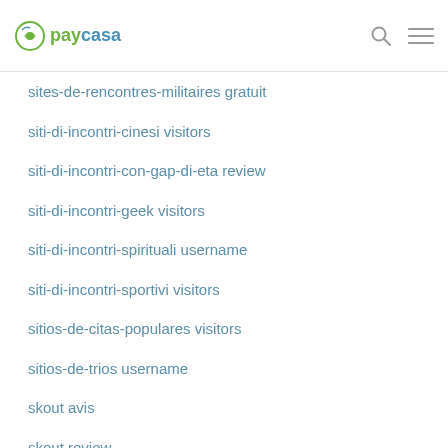paycasa
sites-de-rencontres-militaires gratuit
siti-di-incontri-cinesi visitors
siti-di-incontri-con-gap-di-eta review
siti-di-incontri-geek visitors
siti-di-incontri-spirituali username
siti-di-incontri-sportivi visitors
sitios-de-citas-populares visitors
sitios-de-trios username
skout avis
skout review
skout sito di incontri
Skout visitors